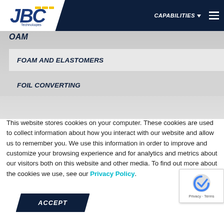[Figure (logo): JBC Technologies logo in white box on dark navy navbar]
CAPABILITIES ▼
OAM
FOAM AND ELASTOMERS
FOIL CONVERTING
This website stores cookies on your computer. These cookies are used to collect information about how you interact with our website and allow us to remember you. We use this information in order to improve and customize your browsing experience and for analytics and metrics about our visitors both on this website and other media. To find out more about the cookies we use, see our Privacy Policy.
ACCEPT